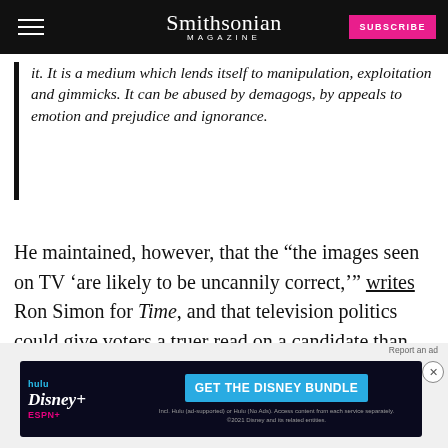Smithsonian MAGAZINE
it. It is a medium which lends itself to manipulation, exploitation and gimmicks. It can be abused by demagogues, by appeals to emotion and prejudice and ignorance.
He maintained, however, that the “the images seen on TV ‘are likely to be uncannily correct,’” writes Ron Simon for Time, and that television politics could give voters a truer read on a candidate than could, say, their position papers.
He al... uth could be an asset in the age of television. “Youth